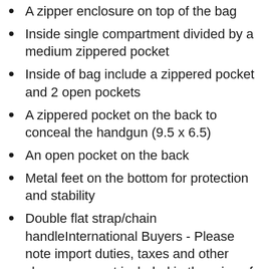A zipper enclosure on top of the bag
Inside single compartment divided by a medium zippered pocket
Inside of bag include a zippered pocket and 2 open pockets
A zippered pocket on the back to conceal the handgun (9.5 x 6.5)
An open pocket on the back
Metal feet on the bottom for protection and stability
Double flat strap/chain handleInternational Buyers - Please note import duties, taxes and other charges are not included in the price of your item or shipping charges